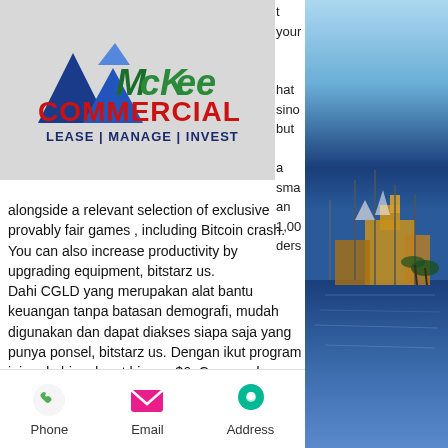[Figure (logo): McKee Commercial logo with blue/navy triangles and green/red text: McKee COMMERCIAL LEASE | MANAGE | INVEST]
alongside a relevant selection of exclusive provably fair games , including Bitcoin crash. You can also increase productivity by upgrading equipment, bitstarz us. Dahi CGLD yang merupakan alat bantu keuangan tanpa batasan demografi, mudah digunakan dan dapat diakses siapa saja yang punya ponsel, bitstarz us. Dengan ikut program ini anda bisa dapat hingga $6. Compund adalah protokol yang
[Figure (photo): Marina/harbor photo with boats and sailboats reflected in water at dusk/night, blue sky background]
Phone   Email   Address